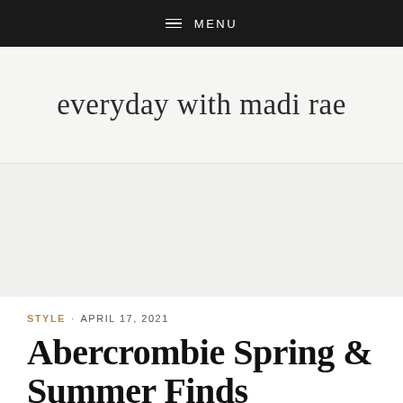≡ MENU
everyday with madi rae
[Figure (other): Gray advertisement banner placeholder area]
STYLE · APRIL 17, 2021
Abercrombie Spring & Summer Finds